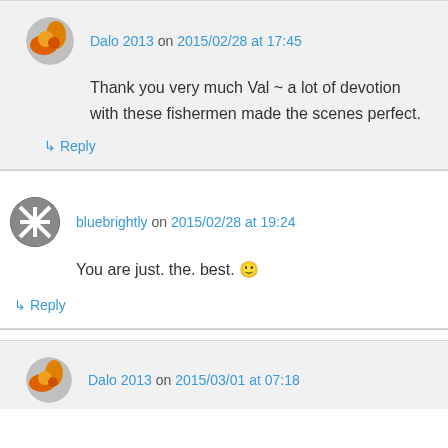Dalo 2013 on 2015/02/28 at 17:45
Thank you very much Val ~ a lot of devotion with these fishermen made the scenes perfect.
↳ Reply
bluebrightly on 2015/02/28 at 19:24
You are just. the. best. 🙂
↳ Reply
Dalo 2013 on 2015/03/01 at 07:18